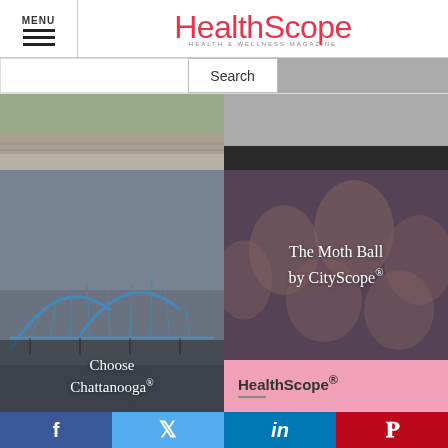MENU
HealthScope
HEALTH & WELLNESS MAGAZINE
[Figure (screenshot): Search bar with text input field and Search button]
[Figure (photo): Outdoor/bridge scene partial photo at top left]
[Figure (photo): Dark banner top right]
[Figure (photo): Choose Chattanooga - photo of Chattanooga bridge with text overlay]
[Figure (photo): The Moth Ball by CityScope - group photo of smiling women with text overlay]
HealthScope®
f  Twitter  in  Pinterest social share buttons